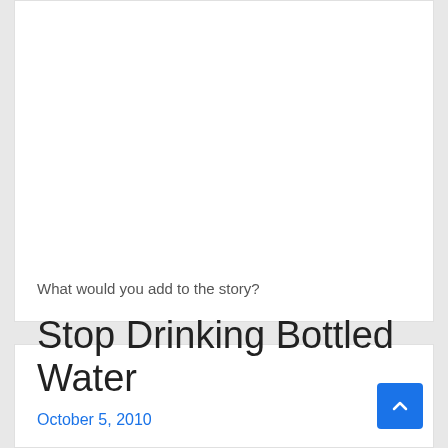What would you add to the story?
Stop Drinking Bottled Water
October 5, 2010